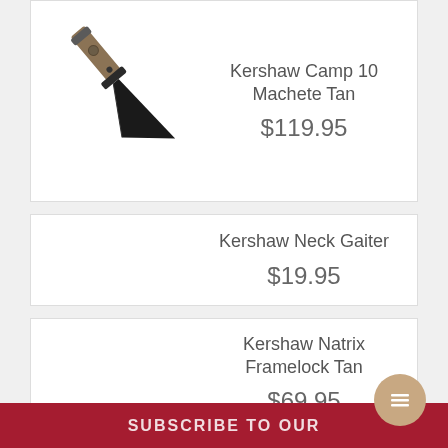[Figure (photo): Kershaw Camp 10 Machete Tan knife product photo]
Kershaw Camp 10 Machete Tan
$119.95
Kershaw Neck Gaiter
$19.95
Kershaw Natrix Framelock Tan
$69.95
SUBSCRIBE TO OUR